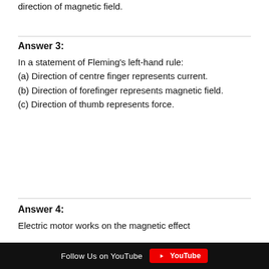direction of magnetic field.
Answer 3:
In a statement of Fleming's left-hand rule:
(a) Direction of centre finger represents current.
(b) Direction of forefinger represents magnetic field.
(c) Direction of thumb represents force.
Answer 4:
Electric motor works on the magnetic effect
Follow Us on YouTube  YouTube